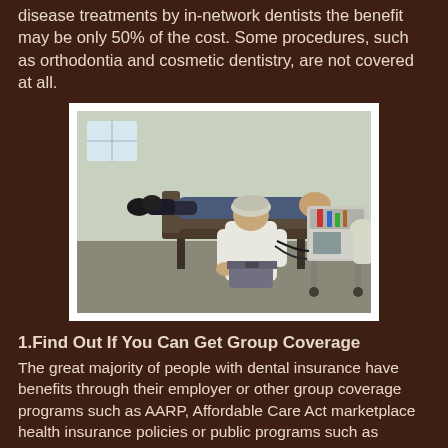disease treatments by in-network dentists the benefit may be only 50% of the cost. Some procedures, such as orthodontia and cosmetic dentistry, are not covered at all.
[Figure (photo): A dental or medical procedure scene: a healthcare worker in white coat and hairnet attends to a patient lying on a treatment chair, with medical equipment visible on a cart nearby.]
1.Find Out If You Can Get Group Coverage
The great majority of people with dental insurance have benefits through their employer or other group coverage programs such as AARP, Affordable Care Act marketplace health insurance policies or public programs such as Medicaid, Children's Health Insurance Program and TriCare for the military.